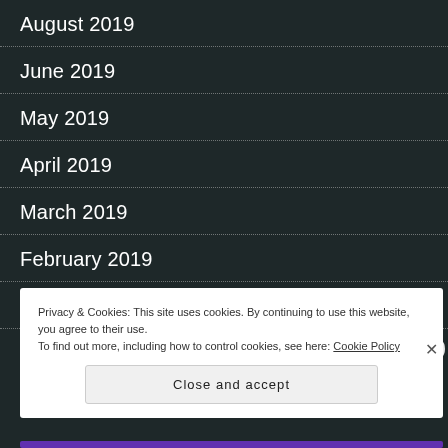August 2019
June 2019
May 2019
April 2019
March 2019
February 2019
December 2018
Privacy & Cookies: This site uses cookies. By continuing to use this website, you agree to their use.
To find out more, including how to control cookies, see here: Cookie Policy
Close and accept